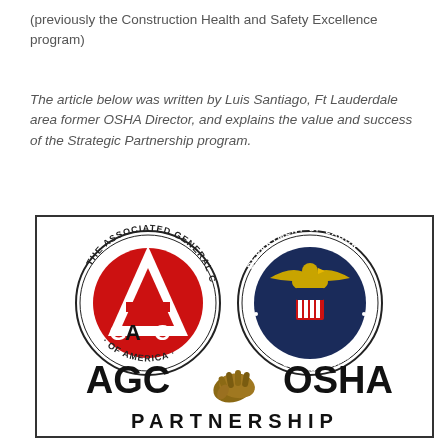(previously the Construction Health and Safety Excellence program)
The article below was written by Luis Santiago, Ft Lauderdale area former OSHA Director, and explains the value and success of the Strategic Partnership program.
[Figure (logo): AGC and OSHA Partnership logo. Left: Associated General Contractors of America circular seal with red background and AGC letters. Right: Department of Labor United States of America circular seal with eagle and shield on blue background. Below seals: 'AGC OSHA' in large bold text with handshake graphic between them, and 'PARTNERSHIP' in spaced capital letters beneath.]